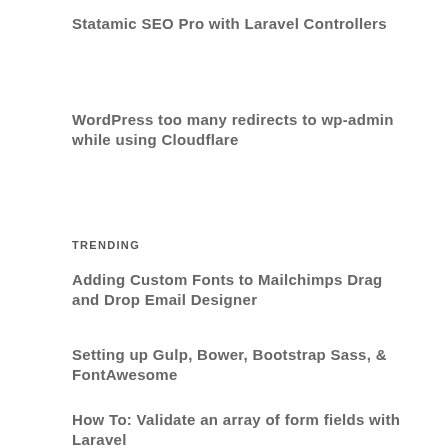Statamic SEO Pro with Laravel Controllers
WordPress too many redirects to wp-admin while using Cloudflare
TRENDING
Adding Custom Fonts to Mailchimps Drag and Drop Email Designer
Setting up Gulp, Bower, Bootstrap Sass, & FontAwesome
How To: Validate an array of form fields with Laravel
Operator Mono with Ligatures
Create a scale model of the room before